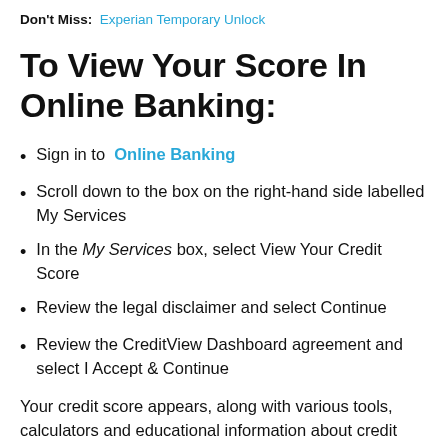Don't Miss:  Experian Temporary Unlock
To View Your Score In Online Banking:
Sign in to  Online Banking
Scroll down to the box on the right-hand side labelled My Services
In the My Services box, select View Your Credit Score
Review the legal disclaimer and select Continue
Review the CreditView Dashboard agreement and select I Accept & Continue
Your credit score appears, along with various tools, calculators and educational information about credit reports.